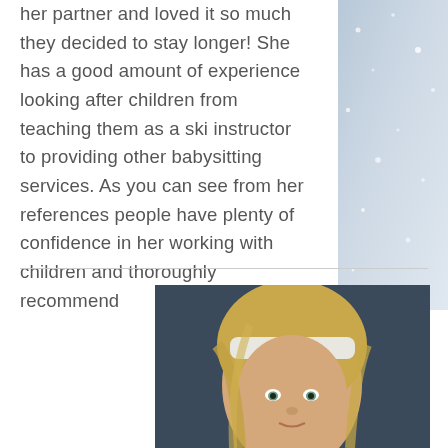her partner and loved it so much they decided to stay longer! She has a good amount of experience looking after children from teaching them as a ski instructor to providing other babysitting services. As you can see from her references people have plenty of confidence in her working with children and thoroughly recommend
[Figure (photo): Portrait photo of a young blonde woman wearing a white headband, looking at the camera with a slight smile. Background appears to be dark/outdoor.]
[Figure (photo): Snowy winter background image visible on the right side of the page, showing a blurred snowy scene with bokeh light effects.]